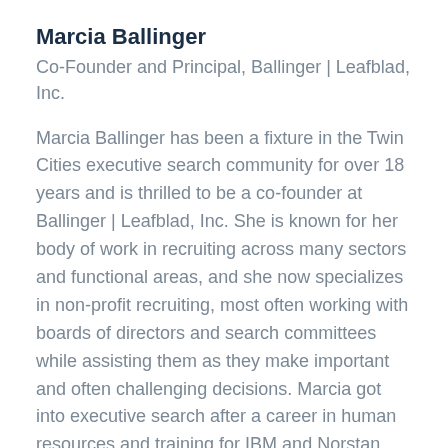Marcia Ballinger
Co-Founder and Principal, Ballinger | Leafblad, Inc.
Marcia Ballinger has been a fixture in the Twin Cities executive search community for over 18 years and is thrilled to be a co-founder at Ballinger | Leafblad, Inc. She is known for her body of work in recruiting across many sectors and functional areas, and she now specializes in non-profit recruiting, most often working with boards of directors and search committees while assisting them as they make important and often challenging decisions. Marcia got into executive search after a career in human resources and training for IBM and Norstan